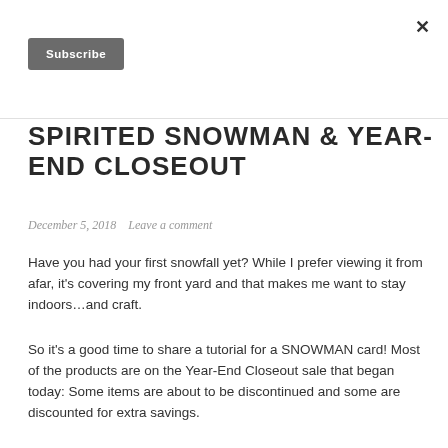×
Subscribe
SPIRITED SNOWMAN & YEAR-END CLOSEOUT
December 5, 2018   Leave a comment
Have you had your first snowfall yet? While I prefer viewing it from afar, it's covering my front yard and that makes me want to stay indoors…and craft.
So it's a good time to share a tutorial for a SNOWMAN card! Most of the products are on the Year-End Closeout sale that began today: Some items are about to be discontinued and some are discounted for extra savings.